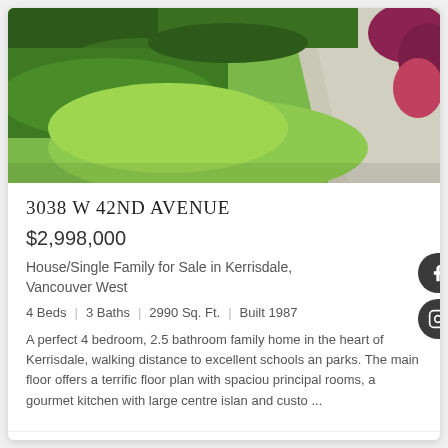[Figure (photo): Exterior photo of property showing lush green lawn, manicured hedges, gravel driveway, and red foliage]
3038 W 42ND AVENUE
$2,998,000
House/Single Family for Sale in Kerrisdale, Vancouver West
4 Beds | 3 Baths | 2990 Sq. Ft. | Built 1987
A perfect 4 bedroom, 2.5 bathroom family home in the heart of Kerrisdale, walking distance to excellent schools and parks. The main floor offers a terrific floor plan with spacious principal rooms, a gourmet kitchen with large centre island and custo ...
Sotheby's International Realty Canada (R2474192)